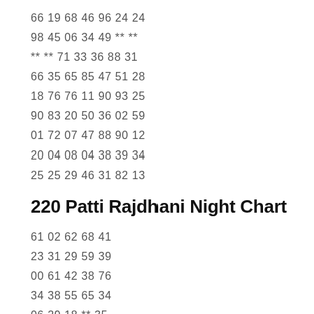66 19 68 46 96 24 24
98 45 06 34 49 ** **
** ** 71 33 36 88 31
66 35 65 85 47 51 28
18 76 76 11 90 93 25
90 83 20 50 36 02 59
01 72 07 47 88 90 12
20 04 08 04 38 39 34
25 25 29 46 31 82 13
220 Patti Rajdhani Night Chart
61 02 62 68 41
23 31 29 59 39
00 61 42 38 76
34 38 55 65 34
06 29 18 ** 35
34 80 38 70 59
77 63 34 90 26